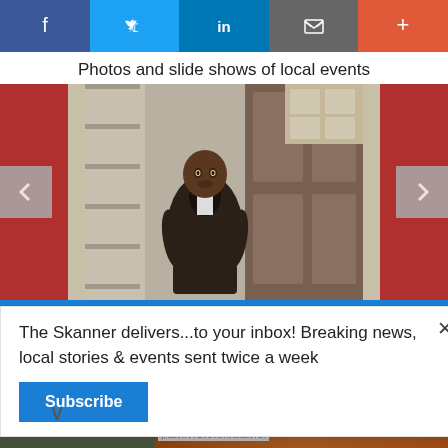[Figure (screenshot): Social media share bar with Facebook, Twitter, LinkedIn, email, and plus buttons]
Photos and slide shows of local events
[Figure (photo): Old black and white photograph of an elderly Black man seated in front of a wooden door, displayed on a red-framed background]
The Skanner delivers...to your inbox! Breaking news, local stories & events sent twice a week
[Figure (screenshot): Subscribe button in blue]
[Figure (infographic): Sedona Apartments advertisement: 14402 Pavilion Point, Houston, TX 77083. Renta tu apartamento Y MUDATE HOY! VEN Y VISITANOS. 1 Y 2 RECAMARAS. www.apartments.com. 281-568-4596]